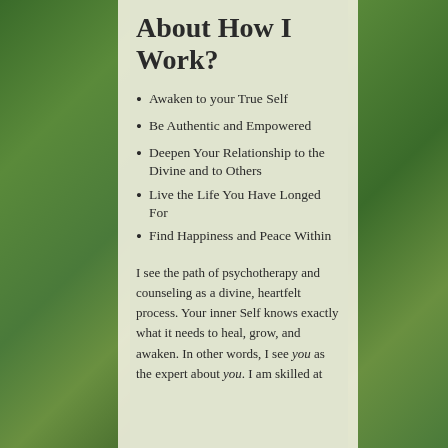About How I Work?
Awaken to your True Self
Be Authentic and Empowered
Deepen Your Relationship to the Divine and to Others
Live the Life You Have Longed For
Find Happiness and Peace Within
I see the path of psychotherapy and counseling as a divine, heartfelt process. Your inner Self knows exactly what it needs to heal, grow, and awaken. In other words, I see you as the expert about you. I am skilled at